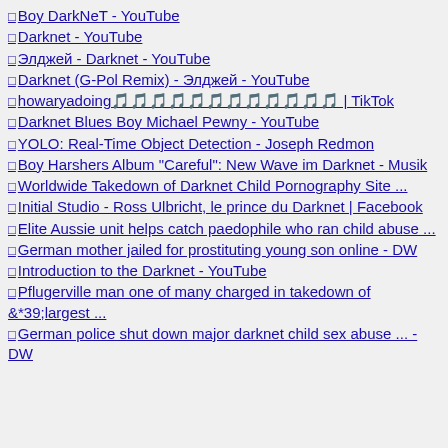Boy DarkNeT - YouTube
Darknet - YouTube
Элджей - Darknet - YouTube
Darknet (G-Pol Remix) - Элджей - YouTube
howaryadoing🎵🎵🎵🎵🎵🎵🎵🎵🎵🎵🎵🎵 | TikTok
Darknet Blues Boy Michael Pewny - YouTube
YOLO: Real-Time Object Detection - Joseph Redmon
Boy Harshers Album "Careful": New Wave im Darknet - Musik
Worldwide Takedown of Darknet Child Pornography Site ...
Initial Studio - Ross Ulbricht, le prince du Darknet | Facebook
Elite Aussie unit helps catch paedophile who ran child abuse ...
German mother jailed for prostituting young son online - DW
Introduction to the Darknet - YouTube
Pflugerville man one of many charged in takedown of &*39;largest ...
German police shut down major darknet child sex abuse ... - DW